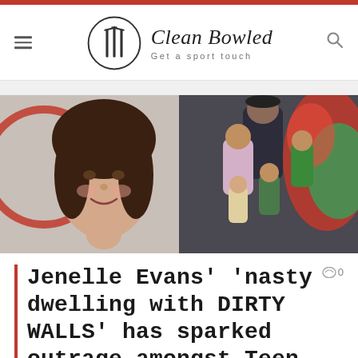Clean Bowled – Get a sport touch
[Figure (photo): Two photos side by side: left is a close-up of a young girl with dark hair smiling, with a red circular graphic partially visible; right is a family group photo of man, woman, and children posing together with colorful butterfly wings in background.]
Jenelle Evans' 'nasty dwelling with DIRTY WALLS' has sparked outrage amongst Teen